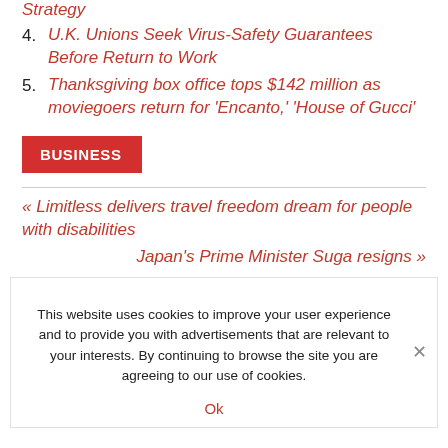Strategy
4. U.K. Unions Seek Virus-Safety Guarantees Before Return to Work
5. Thanksgiving box office tops $142 million as moviegoers return for 'Encanto,' 'House of Gucci'
BUSINESS
« Limitless delivers travel freedom dream for people with disabilities
Japan's Prime Minister Suga resigns »
This website uses cookies to improve your user experience and to provide you with advertisements that are relevant to your interests. By continuing to browse the site you are agreeing to our use of cookies.
Ok